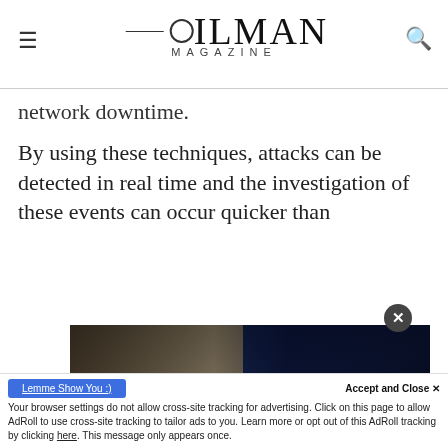OILMAN MAGAZINE
network downtime.
By using these techniques, attacks can be detected in real time and the investigation of these events can occur quicker than
[Figure (photo): Advertisement image showing two halves of an animal face (white animal on left, dark wolf on right) with text: WEAK point solutions? NO THX! on left side; STRONG end-to-end? YESSSSS, I want PakEnergy on right side. Dark background. Blue progress bar at bottom.]
Your browser settings do not allow cross-site tracking for advertising. Click on this page to allow AdRoll to use cross-site tracking to tailor ads to you. Learn more or opt out of this AdRoll tracking by clicking here. This message only appears once.
Known as a distributed ledger system